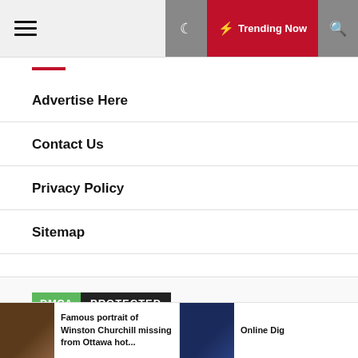Trending Now
Advertise Here
Contact Us
Privacy Policy
Sitemap
[Figure (logo): DMCA Protected badge with green DMCA label and dark PROTECTED label]
Famous portrait of Winston Churchill missing from Ottawa hot...
Online Dig